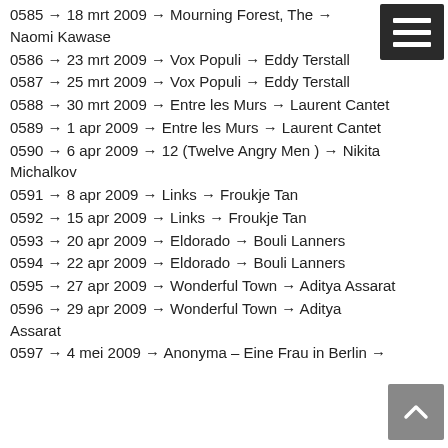0585 → 18 mrt 2009 → Mourning Forest, The → Naomi Kawase
0586 → 23 mrt 2009 → Vox Populi → Eddy Terstall
0587 → 25 mrt 2009 → Vox Populi → Eddy Terstall
0588 → 30 mrt 2009 → Entre les Murs → Laurent Cantet
0589 → 1 apr 2009 → Entre les Murs → Laurent Cantet
0590 → 6 apr 2009 → 12 (Twelve Angry Men ) → Nikita Michalkov
0591 → 8 apr 2009 → Links → Froukje Tan
0592 → 15 apr 2009 → Links → Froukje Tan
0593 → 20 apr 2009 → Eldorado → Bouli Lanners
0594 → 22 apr 2009 → Eldorado → Bouli Lanners
0595 → 27 apr 2009 → Wonderful Town → Aditya Assarat
0596 → 29 apr 2009 → Wonderful Town → Aditya Assarat
0597 → 4 mei 2009 → Anonyma – Eine Frau in Berlin →